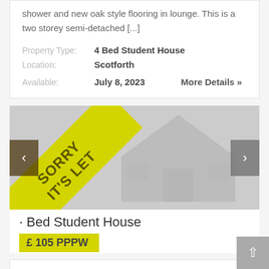shower and new oak style flooring in lounge. This is a two storey semi-detached [...]
Property Type: 4 Bed Student House
Location: Scotforth
Available: July 8, 2023   More Details »
[Figure (photo): Property listing image with 'SORRY IT'S LET' diagonal banner overlay, navigation arrows on left and right, faded house silhouette in background]
· Bed Student House
£ 105 PPPW
36 Wingate Saul Road – 4